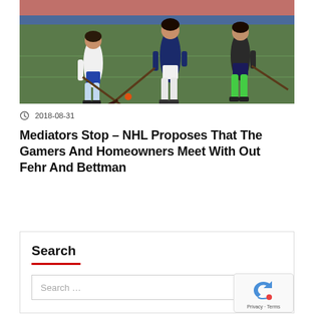[Figure (photo): Field hockey players in action on an outdoor turf field, three women competing for the ball with hockey sticks.]
2018-08-31
Mediators Stop – NHL Proposes That The Gamers And Homeowners Meet With Out Fehr And Bettman
Search